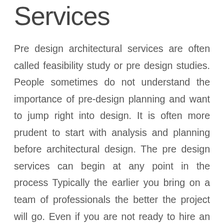Services
Pre design architectural services are often called feasibility study or pre design studies. People sometimes do not understand the importance of pre-design planning and want to jump right into design. It is often more prudent to start with analysis and planning before architectural design. The pre design services can begin at any point in the process Typically the earlier you bring on a team of professionals the better the project will go. Even if you are not ready to hire an architect it may be a good idea to begin interviewing and